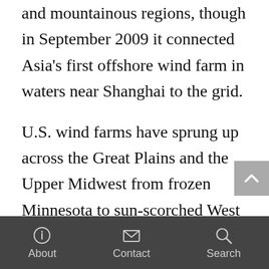based strategy, building wind farms in its desert and mountainous regions, though in September 2009 it connected Asia's first offshore wind farm in waters near Shanghai to the grid.
U.S. wind farms have sprung up across the Great Plains and the Upper Midwest from frozen Minnesota to sun-scorched West Texas, along rocky Appalachian ridgelines, in open spaces in New York and California, and in the Pacific Northwest. Wind power accounted for 42 percent of all new electric generating capacity added in
About   Contact   Search